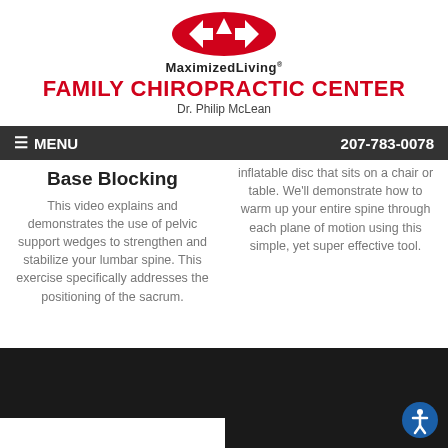[Figure (logo): MaximizedLiving logo with red chevron/arrow shapes and brand name]
FAMILY CHIROPRACTIC CENTER
Dr. Philip McLean
MENU   207-783-0078
Base Blocking
This video explains and demonstrates the use of pelvic support wedges to strengthen and stabilize your lumbar spine. This exercise specifically addresses the positioning of the sacrum.
inflatable disc that sits on a chair or table. We'll demonstrate how to warm up your entire spine through each plane of motion using this simple, yet super effective tool.
[Figure (screenshot): Dark video thumbnail placeholder left]
[Figure (screenshot): Dark video thumbnail placeholder right]